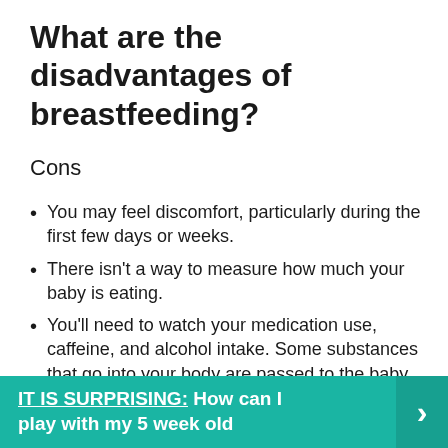What are the disadvantages of breastfeeding?
Cons
You may feel discomfort, particularly during the first few days or weeks.
There isn't a way to measure how much your baby is eating.
You'll need to watch your medication use, caffeine, and alcohol intake. Some substances that go into your body are passed to the baby through your milk.
Newborns eat frequently.
IT IS SURPRISING: How can I play with my 5 week old